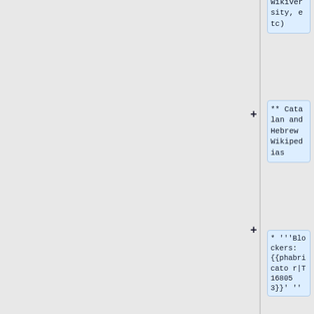Wikiversity, etc)
** Catalan and Hebrew Wikipedias
* '''Blockers: {{phabricator|T168053}}'''
}}|
{{#invoke:Deployment schedule|row
|when=2017-